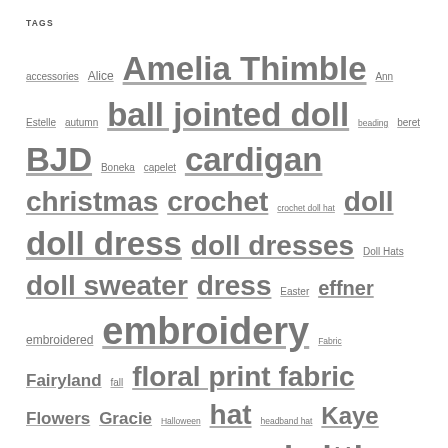TAGS
accessories Alice Amelia Thimble Ann Estelle autumn ball jointed doll beading beret BJD Boneka capelet cardigan christmas crochet crochet doll hat doll doll dress doll dresses Doll Hats doll sweater dress Easter effner embroidered embroidery Fabric Fairyland fall floral print fabric Flowers Gracie Halloween hat headband hat Kaye Wiggs kish Kish doll knit knit dress knitting knitting pattern lace lace knitting Linda Macario little darlings Lucy Millie nature needlefelted Patience Patsy pattern Penny Pukipuki purse Rose Ruby Red Fashion Friends sewing shrug snow snowmen spring spring fashions Studio summer sweater sweater dress Talyssa Tonner Valentine's Day video Vintage Wilde Imagination winter